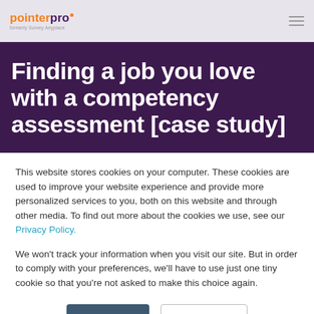pointerpro — formerly Survey Anyplace
Finding a job you love with a competency assessment [case study]
This website stores cookies on your computer. These cookies are used to improve your website experience and provide more personalized services to you, both on this website and through other media. To find out more about the cookies we use, see our Privacy Policy.
We won't track your information when you visit our site. But in order to comply with your preferences, we'll have to use just one tiny cookie so that you're not asked to make this choice again.